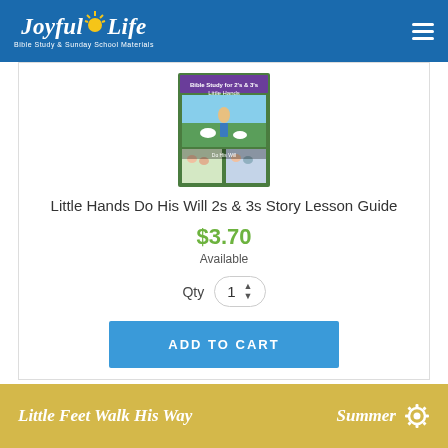Joyful Life – Bible Study & Sunday School Materials
[Figure (photo): Book cover for 'Little Hands Do His Will 2s & 3s Story Lesson Guide' – green cover with illustrated scenes]
Little Hands Do His Will 2s & 3s Story Lesson Guide
$3.70
Available
Qty  1
ADD TO CART
Little Feet Walk His Way    Summer